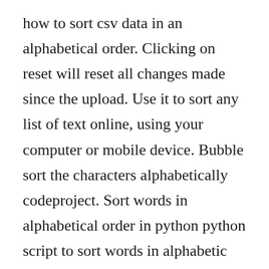how to sort csv data in an alphabetical order. Clicking on reset will reset all changes made since the upload. Use it to sort any list of text online, using your computer or mobile device. Bubble sort the characters alphabetically codeproject. Sort words in alphabetical order in python python script to sort words in alphabetic order from a sentence. To sort string in alphabetical order, you have to ask from user to enter any string to sort the entered string in alphabetical order and print the sorted string as output as shown in the